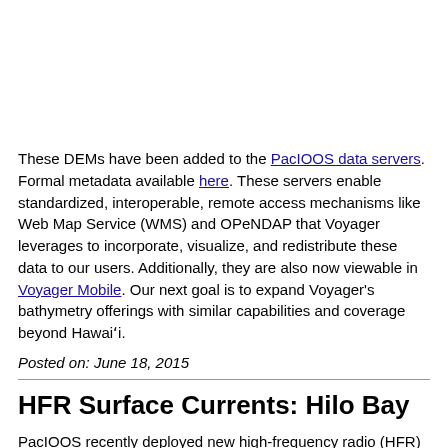These DEMs have been added to the PacIOOS data servers. Formal metadata available here. These servers enable standardized, interoperable, remote access mechanisms like Web Map Service (WMS) and OPeNDAP that Voyager leverages to incorporate, visualize, and redistribute these data to our users. Additionally, they are also now viewable in Voyager Mobile. Our next goal is to expand Voyager's bathymetry offerings with similar capabilities and coverage beyond Hawai'i.
Posted on: June 18, 2015
HFR Surface Currents: Hilo Bay
PacIOOS recently deployed new high-frequency radio (HFR) antenna arrays to estimate surface currents in and around Hilo Bay on the windward (Eastern) coast of Hawai'i Island (Big Island), extending our HFR capabilities beyond O'ahu for the first time. These low-power radio transmitters listen for the Doppler-shifted signal reflected back from the ocean to derive the direction and speed of surface currents. Settting up 5 angled arrays and Merged data between the antennas they can